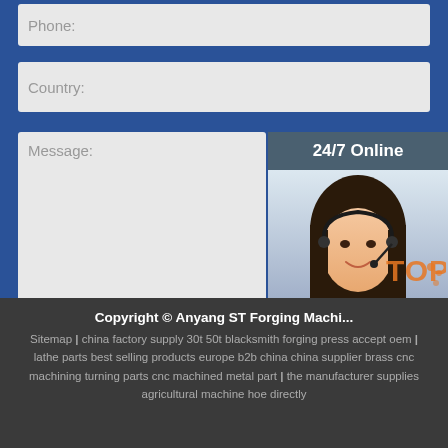Phone:
Country:
Message:
Submit Now
[Figure (photo): 24/7 Online customer service agent - woman with headset smiling]
Click here for free chat !
QUOTATION
Copyright © Anyang ST Forging Machinery
Sitemap | china factory supply 30t 50t blacksmith forging press accept oem | lathe parts best selling products europe b2b china china supplier brass cnc machining turning parts cnc machined metal part | the manufacturer supplies agricultural machine hoe directly